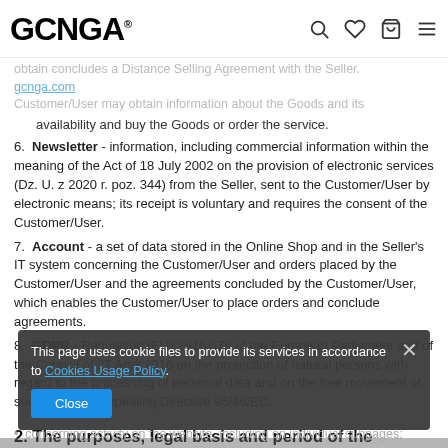GCNGA® [header with search, wishlist, cart, menu icons]
obtain concludes a Distance Selling Agreement with the Seller.
gcnga.com [link, partially shown]
Customer/User may obtain information about the Goods and its availability and buy the Goods or order the service.
6. Newsletter - information, including commercial information within the meaning of the Act of 18 July 2002 on the provision of electronic services (Dz. U. z 2020 r. poz. 344) from the Seller, sent to the Customer/User by electronic means; its receipt is voluntary and requires the consent of the Customer/User.
7. Account - a set of data stored in the Online Shop and in the Seller's IT system concerning the Customer/User and orders placed by the Customer/User and the agreements concluded by the Customer/User, which enables the Customer/User to place orders and conclude agreements.
8. GDPR - Regulation (EU) 2016/679 of the European Parliament and of the Council of 27 April 2016 on the protection of natural persons with regard to the processing of personal data and on the free movement of such data, and repealing Directive 95/46/EC.
2. The purposes, legal basis and period of the processing
This page uses cookie files to provide its services in accordance to Cookies Usage Policy.
Close
concerning activity on the website, including on individual subpages;